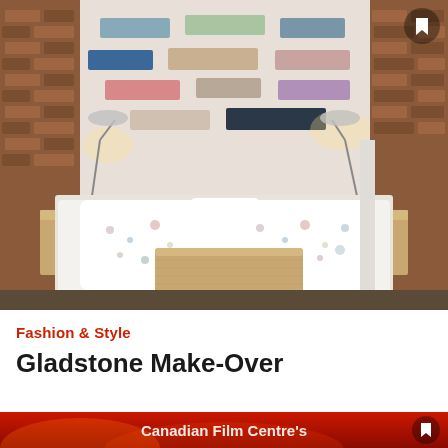[Figure (photo): Bedroom interior photo showing a large bed with white bedding and two patterned pillows, a wooden tray/coffee table on the bed, two silver adjustable desk lamps on wooden nightstands on either side, exposed brick walls, and a colorful paint swatch headboard display with rectangles in various colors (blue, green, pink, grey, navy, lavender) arranged on the wall behind the bed.]
Fashion & Style
Gladstone Make-Over
[Figure (photo): Bottom banner with red/orange fiery background and white text reading 'Canadian Film Centre's']